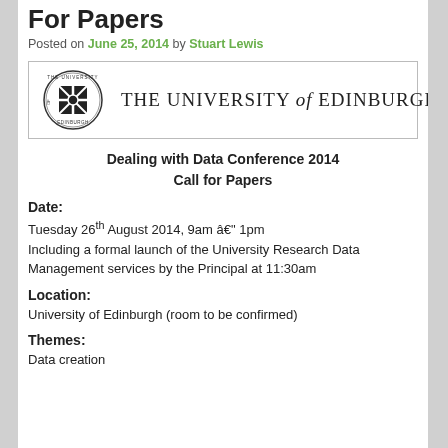For Papers
Posted on June 25, 2014 by Stuart Lewis
[Figure (logo): The University of Edinburgh logo with crest and text]
Dealing with Data Conference 2014
Call for Papers
Date:
Tuesday 26th August 2014, 9am – 1pm
Including a formal launch of the University Research Data Management services by the Principal at 11:30am
Location:
University of Edinburgh (room to be confirmed)
Themes:
Data creation